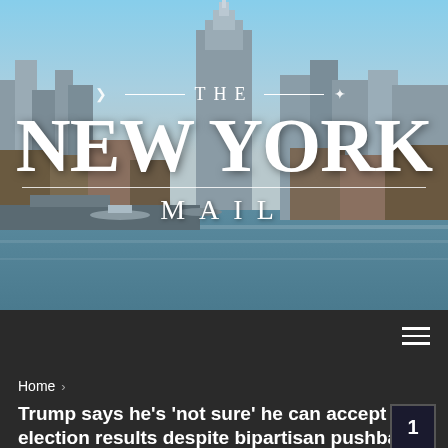[Figure (photo): New York City skyline with waterfront and sky background used as masthead hero image for The New York Mail publication]
THE NEW YORK MAIL
THE NEW YORK MAIL
Home > Trump says he's 'not sure' he can accept election results despite bipartisan pushback